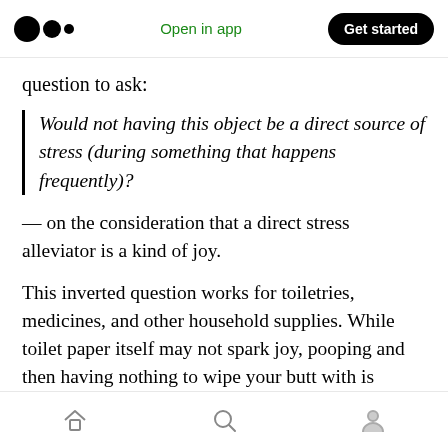Open in app | Get started
question to ask:
Would not having this object be a direct source of stress (during something that happens frequently)?
— on the consideration that a direct stress alleviator is a kind of joy.
This inverted question works for toiletries, medicines, and other household supplies. While toilet paper itself may not spark joy, pooping and then having nothing to wipe your butt with is terrible. Pain medicine itself may not spark joy,
Home | Search | Profile